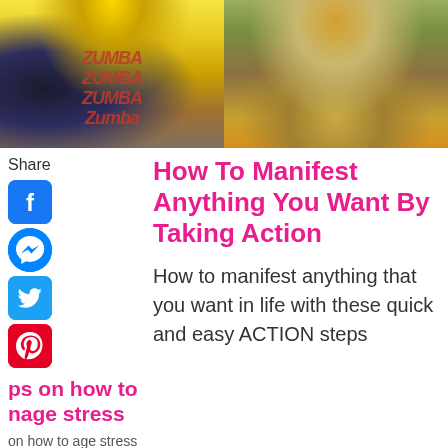[Figure (photo): Two photos side by side at top: left shows a woman in a yellow Zumba tank top; right shows a woman in jeans and yellow top standing outdoors among fallen leaves.]
Share
[Figure (infographic): Social media share icons: Facebook, Messenger, Twitter, Pinterest]
ps on how to nage stress
on how to age stress day to
How To Manifest Anything You Want By Taking Action
How to manifest anything that you want in life with these quick and easy ACTION steps